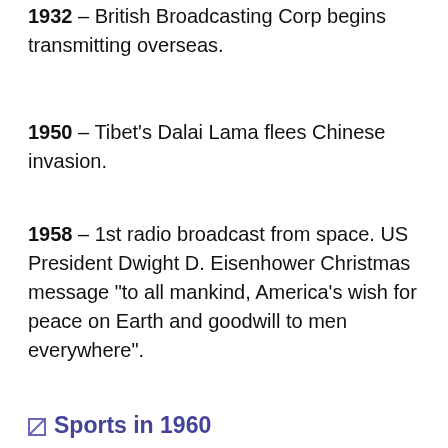1932 – British Broadcasting Corp begins transmitting overseas.
1950 – Tibet's Dalai Lama flees Chinese invasion.
1958 – 1st radio broadcast from space. US President Dwight D. Eisenhower Christmas message "to all mankind, America's wish for peace on Earth and goodwill to men everywhere".
Sports in 1960